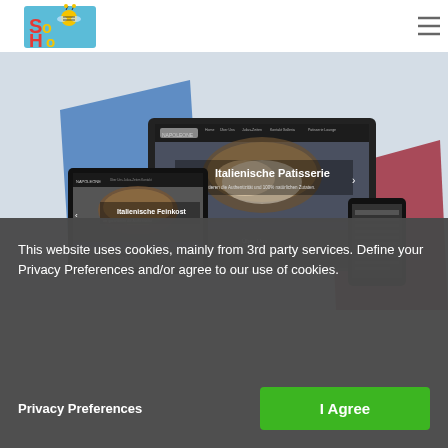[Figure (screenshot): Website screenshot showing a SoHo logo in top-left, a hamburger menu icon top-right, and a mockup of a website displayed on various devices (laptop, tablet, mobile). The mockup shows an Italian restaurant website called 'Napoleone' with text 'Italienische Patisserie' and food photography. Geometric colored shapes (blue, red) are visible behind the devices.]
This website uses cookies, mainly from 3rd party services. Define your Privacy Preferences and/or agree to our use of cookies.
Privacy Preferences
I Agree